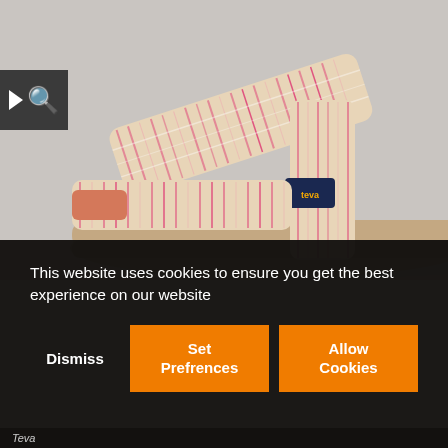[Figure (photo): Close-up photo of a Teva sandal with pink and beige patterned straps on a light gray background. The sandal has a tan/beige sole. A dark gray search icon box with a play arrow and magnifying glass is overlaid in the upper left.]
This website uses cookies to ensure you get the best experience on our website
Dismiss
Set Prefrences
Allow Cookies
Teva